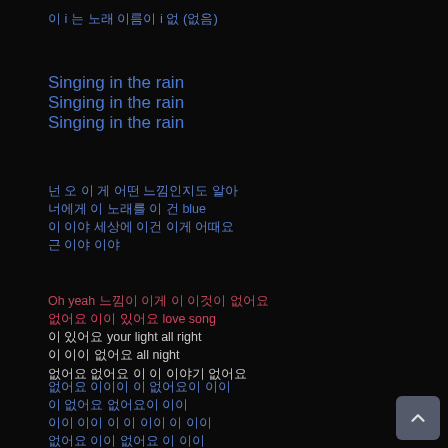이 i 는 노래 이름이 i 없 (없음)
Singing in the rain
Singing in the rain
Singing in the rain
넌 오 이 게 어떤 느낌인지도 알아
너에게 이 노래를 이 건 blue
이 이야 세상에 이건 이게 어때요
근 이야 이야
Oh yeah 느낌이 이게 이 이것이 없어요
없어요 이이 있어요 love song
이 있어요 your light all right
이 이이 없어요 all night
없어요 없어요 이 이 이야기 없어요
없어요 이이이 이 없어요이 이이
이 없어요 없어요이 이이
이이 이이 이 이 이이 이 이이
없어요 이이 없어요 이 이이